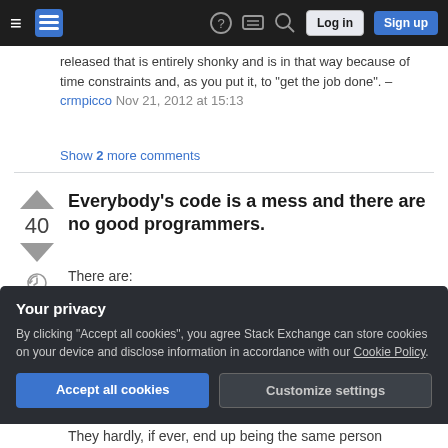Stack Exchange — Navigation bar with Log in and Sign up buttons
released that is entirely shonky and is in that way because of time constraints and, as you put it, to "get the job done". – crmpicco Nov 21, 2012 at 15:13
Show 2 more comments
Everybody's code is a mess and there are no good programmers.
There are:
programmers that ship fast,
Your privacy
By clicking "Accept all cookies", you agree Stack Exchange can store cookies on your device and disclose information in accordance with our Cookie Policy.
They hardly, if ever, end up being the same person